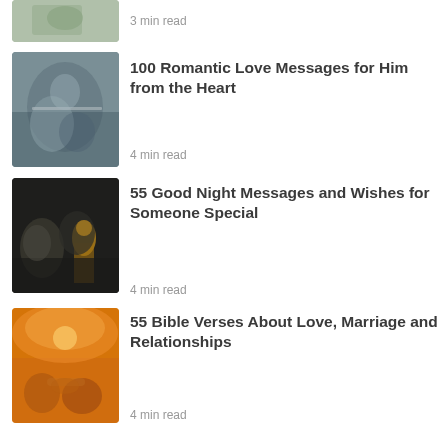[Figure (photo): Partial top article thumbnail - hands/flowers cropped]
3 min read
[Figure (photo): Couple holding hands - romantic close up]
100 Romantic Love Messages for Him from the Heart
4 min read
[Figure (photo): Couple sitting together in warm lamp light]
55 Good Night Messages and Wishes for Someone Special
4 min read
[Figure (photo): Hands holding at sunset with warm orange sky]
55 Bible Verses About Love, Marriage and Relationships
4 min read